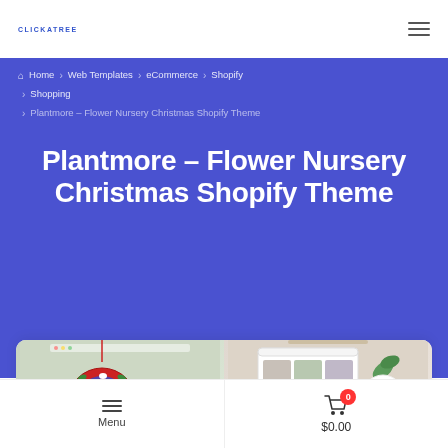CLICKATREE  ☰
Home > Web Templates > eCommerce > Shopify > Shopping > Plantmore – Flower Nursery Christmas Shopify Theme
Plantmore – Flower Nursery Christmas Shopify Theme
[Figure (screenshot): Product preview screenshot showing a Christmas-themed Shopify store with Santa Claus wreath ornament, Shopify logo, and a Black Friday promotional panel with a search icon overlay]
Menu  🛒 0  $0.00